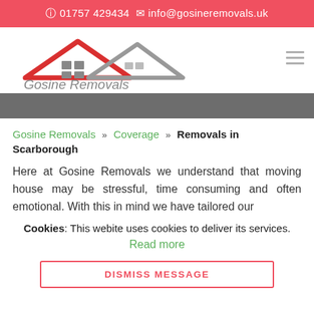☎ 01757 429434 ✉ info@gosineremovals.uk
[Figure (logo): Gosine Removals logo with red and grey house roof silhouettes and company name]
Gosine Removals » Coverage » Removals in Scarborough
Here at Gosine Removals we understand that moving house may be stressful, time consuming and often emotional. With this in mind we have tailored our
Cookies: This webite uses cookies to deliver its services. Read more
DISMISS MESSAGE